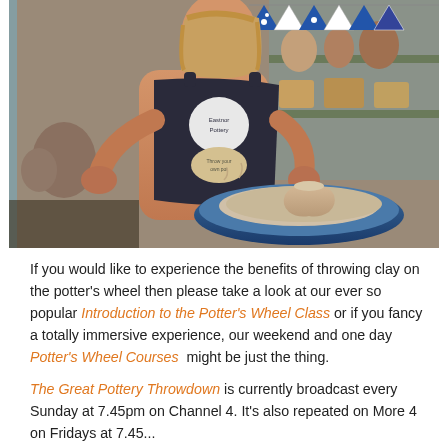[Figure (photo): A woman wearing a dark apron with 'Eastnor Pottery' text, sitting at a pottery wheel with a clay pot being shaped. Shelves with pottery items in the background, blue and white bunting hanging above.]
If you would like to experience the benefits of throwing clay on the potter's wheel then please take a look at our ever so popular Introduction to the Potter's Wheel Class or if you fancy a totally immersive experience, our weekend and one day Potter's Wheel Courses  might be just the thing.
The Great Pottery Throwdown is currently broadcast every Sunday at 7.45pm on Channel 4. It's also repeated on More 4 on Fridays at 7.45...